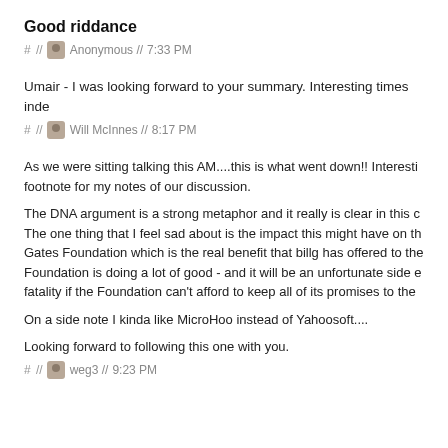Good riddance
# // Anonymous // 7:33 PM
Umair - I was looking forward to your summary. Interesting times inde...
# // Will McInnes // 8:17 PM
As we were sitting talking this AM....this is what went down!! Interesting footnote for my notes of our discussion.

The DNA argument is a strong metaphor and it really is clear in this c... The one thing that I feel sad about is the impact this might have on th... Gates Foundation which is the real benefit that billg has offered to the... Foundation is doing a lot of good - and it will be an unfortunate side e... fatality if the Foundation can't afford to keep all of its promises to the...

On a side note I kinda like MicroHoo instead of Yahoosoft....

Looking forward to following this one with you.
# // weg3 // 9:23 PM